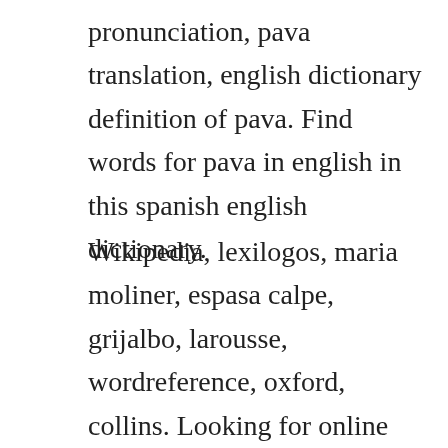pronunciation, pava translation, english dictionary definition of pava. Find words for pava in english in this spanish english dictionary.
Wikipedia, lexilogos, maria moliner, espasa calpe, grijalbo, larousse, wordreference, oxford, collins. Looking for online definition of pava or what pava stands for. English translation of pava collins spanishenglish. Over 00 english translations of spanish words and phrases. Wikipedia, lexilogos, maria moliner, espasa calpe, grijalbo, larousse,